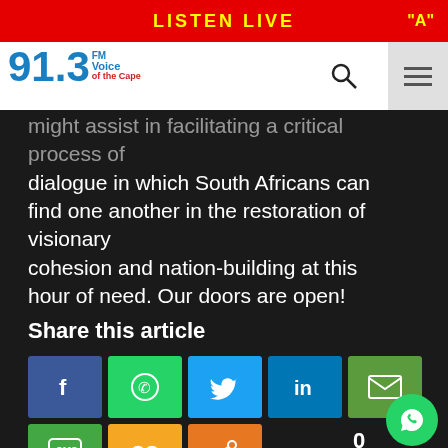LISTEN LIVE
[Figure (logo): 91.3 FM Voice of the Cape radio station logo]
might assist in facilitating a critical process of dialogue in which South Africans can find one another in the restoration of visionary cohesion and nation-building at this hour of need. Our doors are open!
Share this article
[Figure (infographic): Social media share buttons: Facebook, WhatsApp, Twitter, LinkedIn, Email, SMS, Copy link, Share. Shares count: 0]